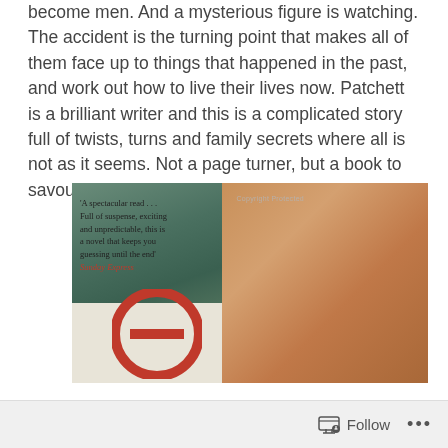become men. And a mysterious figure is watching. The accident is the turning point that makes all of them face up to things that happened in the past, and work out how to live their lives now. Patchett is a brilliant writer and this is a complicated story full of twists, turns and family secrets where all is not as it seems. Not a page turner, but a book to savour.
[Figure (photo): Book cover photo showing a child sitting huddled against a painted wall with a book cover quote: 'A spectacular read... Full of suspense, exciting and unpredictable, this is a novel that keeps you guessing until the end' Sunday Express. A red no-sign graphic is partially visible at the bottom.]
Follow ...